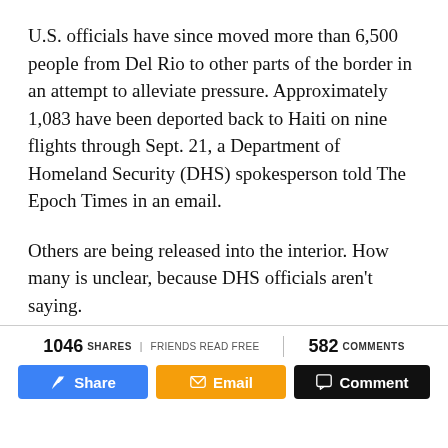U.S. officials have since moved more than 6,500 people from Del Rio to other parts of the border in an attempt to alleviate pressure. Approximately 1,083 have been deported back to Haiti on nine flights through Sept. 21, a Department of Homeland Security (DHS) spokesperson told The Epoch Times in an email.
Others are being released into the interior. How many is unclear, because DHS officials aren't saying.
The same spokesperson declined to answer questions about those being released, while Customs and
1046 SHARES | FRIENDS READ FREE   582 COMMENTS   Share   Email   Comment